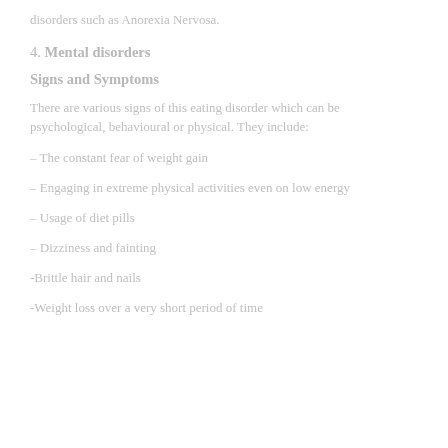disorders such as Anorexia Nervosa.
4. Mental disorders
Signs and Symptoms
There are various signs of this eating disorder which can be psychological, behavioural or physical. They include:
– The constant fear of weight gain
– Engaging in extreme physical activities even on low energy
– Usage of diet pills
– Dizziness and fainting
-Brittle hair and nails
-Weight loss over a very short period of time